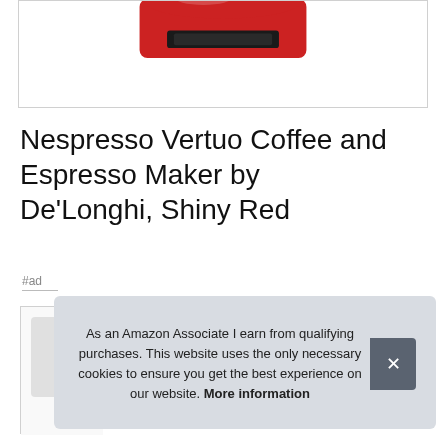[Figure (photo): Top portion of a Nespresso Vertuo Coffee and Espresso Maker in Shiny Red color, partially cropped showing the top of the machine with red and black accents]
Nespresso Vertuo Coffee and Espresso Maker by De'Longhi, Shiny Red
#ad
[Figure (photo): Partially visible product image, bottom portion cut off with a down chevron arrow]
As an Amazon Associate I earn from qualifying purchases. This website uses the only necessary cookies to ensure you get the best experience on our website. More information